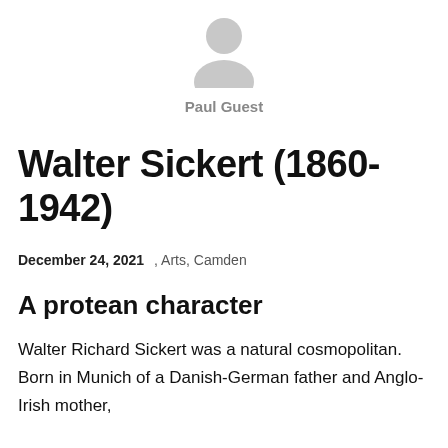[Figure (illustration): Grey silhouette avatar icon of a person, centered at top of page]
Paul Guest
Walter Sickert (1860-1942)
December 24, 2021   , Arts, Camden
A protean character
Walter Richard Sickert was a natural cosmopolitan. Born in Munich of a Danish-German father and Anglo-Irish mother,